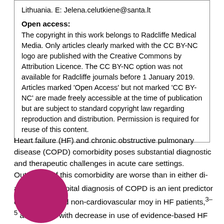Lithuania. E: Jelena.celutkiene@santa.lt
Open access:
The copyright in this work belongs to Radcliffe Medical Media. Only articles clearly marked with the CC BY-NC logo are published with the Creative Commons by Attribution Licence. The CC BY-NC option was not available for Radcliffe journals before 1 January 2019. Articles marked ‘Open Access’ but not marked ‘CC BY-NC’ are made freely accessible at the time of publication but are subject to standard copyright law regarding reproduction and distribution. Permission is required for reuse of this content.
Heart failure (HF) and chronic obstructive pulmonary disease (COPD) comorbidity poses substantial diagnostic and therapeutic challenges in acute care settings. Outcomes of this comorbidity are worse than in either disease alone.1,2 A hospital diagnosis of COPD is an independent predictor of all-cause and non-cardiovascular mortality in HF patients,3–5 associated with decrease in use of evidence-based HF medications and longer